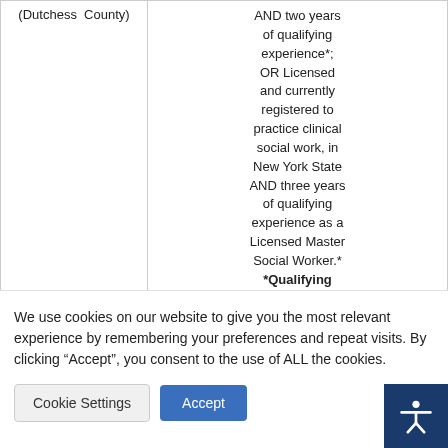| (Dutchess County) | AND two years of qualifying experience*; OR Licensed and currently registered to practice clinical social work, in New York State AND three years of qualifying experience as a Licensed Master Social Worker.* *Qualifying |
We use cookies on our website to give you the most relevant experience by remembering your preferences and repeat visits. By clicking “Accept”, you consent to the use of ALL the cookies.